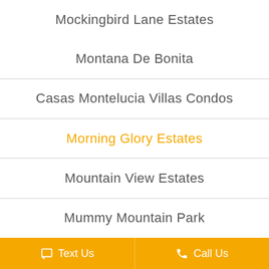Mockingbird Lane Estates
Montana De Bonita
Casas Montelucia Villas Condos
Morning Glory Estates
Mountain View Estates
Mummy Mountain Park
Text Us   Call Us